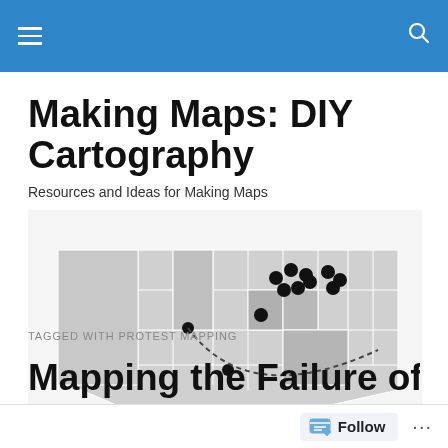Making Maps: DIY Cartography
Resources and Ideas for Making Maps
[Figure (map): Map of the United States showing protest locations marked with black dots clustered in the upper midwest/great lakes region, with a dashed line arc connecting a point in Colorado to the eastern US.]
TAGGED WITH PROTEST MAPPING
Mapping the Failure of the...